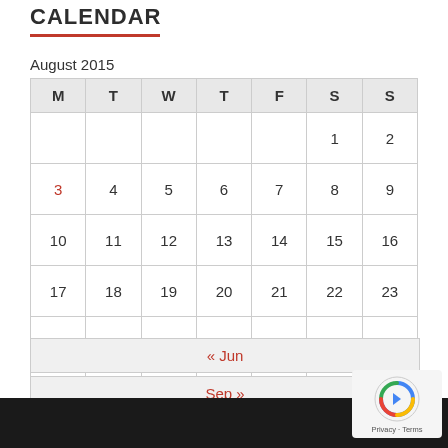CALENDAR
August 2015
| M | T | W | T | F | S | S |
| --- | --- | --- | --- | --- | --- | --- |
|  |  |  |  |  | 1 | 2 |
| 3 | 4 | 5 | 6 | 7 | 8 | 9 |
| 10 | 11 | 12 | 13 | 14 | 15 | 16 |
| 17 | 18 | 19 | 20 | 21 | 22 | 23 |
| 24 | 25 | 26 | 27 | 28 | 29 | 30 |
| 31 |  |  |  |  |  |  |
« Jun
Sep »